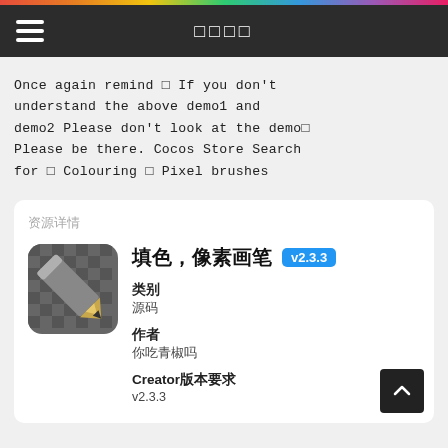□□□□
Once again remind □ If you don't understand the above demo1 and demo2 Please don't look at the demo□ Please be there. Cocos Store Search for □ Colouring □ Pixel brushes
资源详情
[Figure (illustration): App icon showing a pencil on a checkered background]
填色，像素画笔 v2.3.3
类别
源码
作者
你吃青椒吗
Creator版本要求
v2.3.3